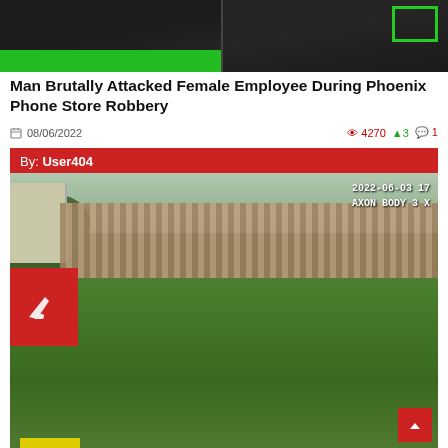[Figure (photo): Two side-by-side video stills at top of page with green overlay elements, dark backgrounds]
Man Brutally Attacked Female Employee During Phoenix Phone Store Robbery
08/06/2022   4270  3  1
By: User404
[Figure (photo): Body camera footage showing a man in black clothing crouching in a backyard with a wooden fence, timestamp overlay reads 2022-06-03 17 AXON BODY 3 X]